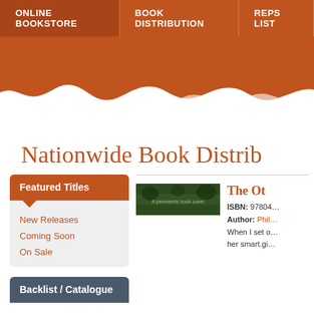ONLINE BOOKSTORE | BOOK DISTRIBUTION | REPS LIST
[Figure (illustration): Nationwide Book Distribution website hero banner with brown/terracotta wave drip design]
Nationwide Book Distrib…
Featured Titles
New Releases
Coming Soon
On Sale
Backlist / Catalogue
[Figure (photo): Book cover image — green/dark landscape panoramic cover]
The Ot…
ISBN: 97804…
Author: Phil…
When I set o… her smart.gi…